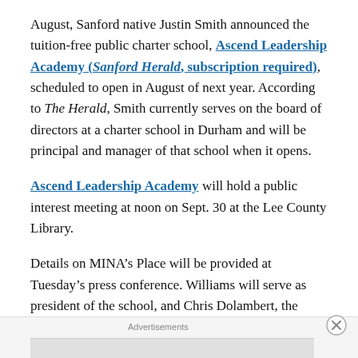August, Sanford native Justin Smith announced the tuition-free public charter school, Ascend Leadership Academy (Sanford Herald, subscription required), scheduled to open in August of next year. According to The Herald, Smith currently serves on the board of directors at a charter school in Durham and will be principal and manager of that school when it opens.
Ascend Leadership Academy will hold a public interest meeting at noon on Sept. 30 at the Lee County Library.
Details on MINA’s Place will be provided at Tuesday’s press conference. Williams will serve as president of the school, and Chris Dolambert, the director of business
Advertisements